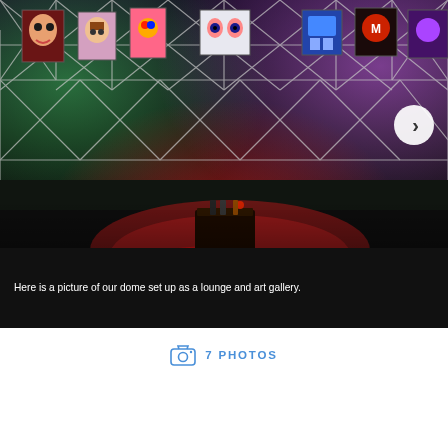[Figure (photo): Interior of a geodesic dome set up as a lounge and art gallery. The dome has art pieces hung along the top curved walls. The floor has rugs and low seating/cushions. The space is lit with colorful LED lighting — green on the left, purple/pink on the right, and red in the center floor area. A small table with drinks is visible in the center. There is a circular navigation arrow button (next) on the right side of the image.]
Here is a picture of our dome set up as a lounge and art gallery.
7 PHOTOS